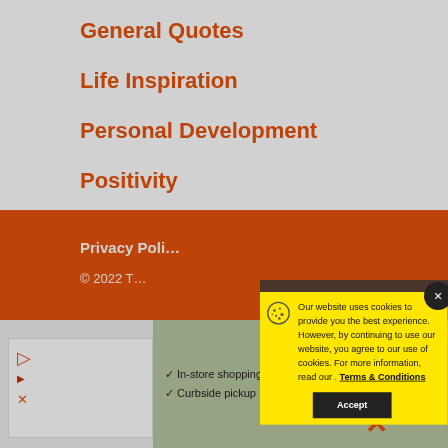General Quotes
Life Inspiration
Personal Development
Positivity
Proverbs
Success
Privacy Poli…
© 2022 T…
Our website uses cookies to provide you the best experience. However, by continuing to use our website, you agree to our use of cookies. For more information, read our . Terms & Conditions
Accept
No compatible source was found for this media.